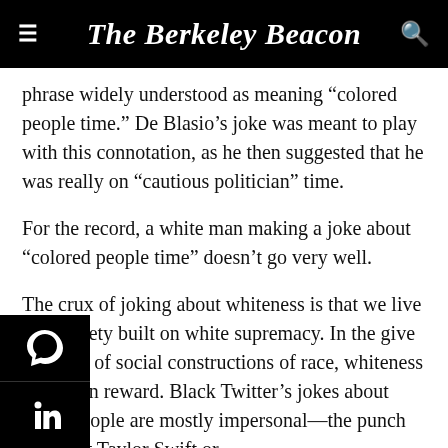The Berkeley Beacon
phrase widely understood as meaning “colored people time.” De Blasio’s joke was meant to play with this connotation, as he then suggested that he was really on “cautious politician” time.
For the record, a white man making a joke about “colored people time” doesn’t go very well.
The crux of joking about whiteness is that we live in a society built on white supremacy. In the give and take of social constructions of race, whiteness is its own reward. Black Twitter’s jokes about white people are mostly impersonal—the punch line isn’t Taylor Swift or …kenstocks or “I was told by AppleCare,” they’re meant to …e fun at whiteness itself. Taken literally, Schumer’s …msy quips about not featuring people of color …minently in her work only implicate her in her oversight